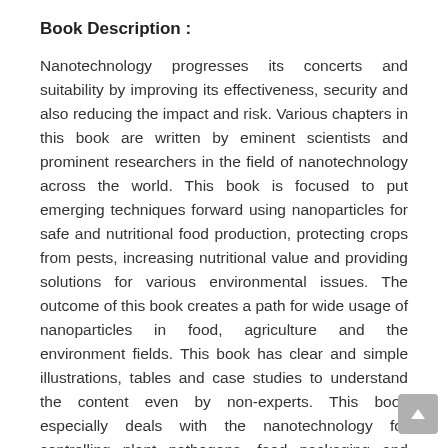Book Description :
Nanotechnology progresses its concerts and suitability by improving its effectiveness, security and also reducing the impact and risk. Various chapters in this book are written by eminent scientists and prominent researchers in the field of nanotechnology across the world. This book is focused to put emerging techniques forward using nanoparticles for safe and nutritional food production, protecting crops from pests, increasing nutritional value and providing solutions for various environmental issues. The outcome of this book creates a path for wide usage of nanoparticles in food, agriculture and the environment fields. This book has clear and simple illustrations, tables and case studies to understand the content even by non-experts. This book especially deals with the nanotechnology for controlling plant pathogens, food packaging and preservation, agricultural productivity, waste water treatment and bioenergy production. Hence, this book can be adopted